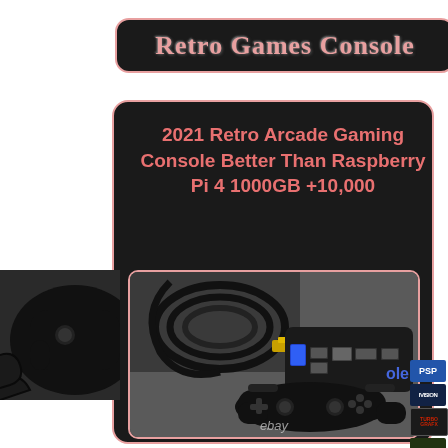Retro Games Console
2021 Retro Arcade Gaming Console Better Than Raspberry Pi 4 1000GB +10,000
[Figure (photo): Photo of a black retro gaming console with USB ports, HDMI and ethernet connections, accompanied by a black wireless gamepad/controller, with cables visible, displayed on a grey surface. eBay watermark at bottom.]
[Figure (photo): Partial view of a black game controller on the left edge of the page]
ole
PSP
IVISION
TURBO GRAFX
ebay